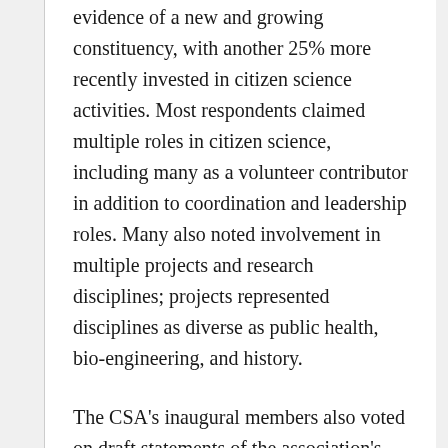evidence of a new and growing constituency, with another 25% more recently invested in citizen science activities. Most respondents claimed multiple roles in citizen science, including many as a volunteer contributor in addition to coordination and leadership roles. Many also noted involvement in multiple projects and research disciplines; projects represented disciplines as diverse as public health, bio-engineering, and history.
The CSA's inaugural members also voted on draft statements of the association's mission, vision, and goals, which the steering committee crafted based on input from PPSR 2012 conference participants and subsequent suggestions from